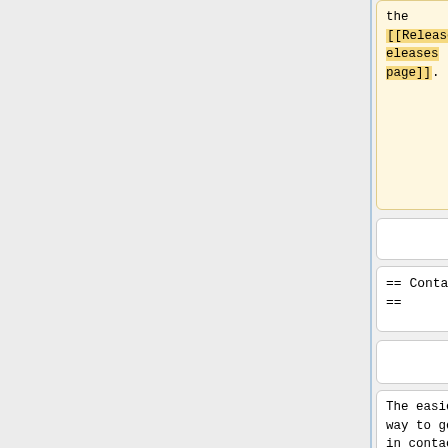the [[Releases|releases page]].
Have a look at the Implementations section on the left side.
== Contact ==
== Contact ==
The easiest way to get in contact with the OpenBIOS team is to subscribe the OpenBIOS
The easiest way to get in contact with the OpenBIOS team is to subscribe the OpenBIOS